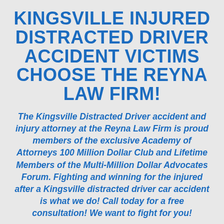KINGSVILLE INJURED DISTRACTED DRIVER ACCIDENT VICTIMS CHOOSE THE REYNA LAW FIRM!
The Kingsville Distracted Driver accident and injury attorney at the Reyna Law Firm is proud members of the exclusive Academy of Attorneys 100 Million Dollar Club and Lifetime Members of the Multi-Million Dollar Advocates Forum. Fighting and winning for the injured after a Kingsville distracted driver car accident is what we do! Call today for a free consultation! We want to fight for you!